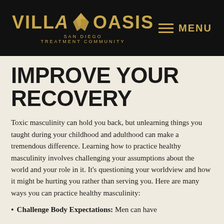[Figure (logo): Villa Oasis San Diego Treatment Community logo with golden text and wing icon on black background, with MENU navigation]
IMPROVE YOUR RECOVERY
Toxic masculinity can hold you back, but unlearning things you taught during your childhood and adulthood can make a tremendous difference. Learning how to practice healthy masculinity involves challenging your assumptions about the world and your role in it. It's questioning your worldview and how it might be hurting you rather than serving you. Here are many ways you can practice healthy masculinity:
Challenge Body Expectations: Men can have